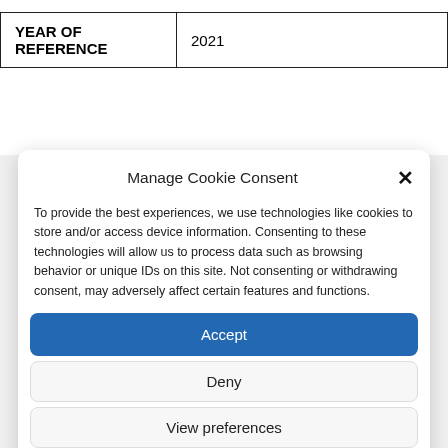| YEAR OF REFERENCE | 2021 |
Manage Cookie Consent
To provide the best experiences, we use technologies like cookies to store and/or access device information. Consenting to these technologies will allow us to process data such as browsing behavior or unique IDs on this site. Not consenting or withdrawing consent, may adversely affect certain features and functions.
Accept
Deny
View preferences
Cookie Policy